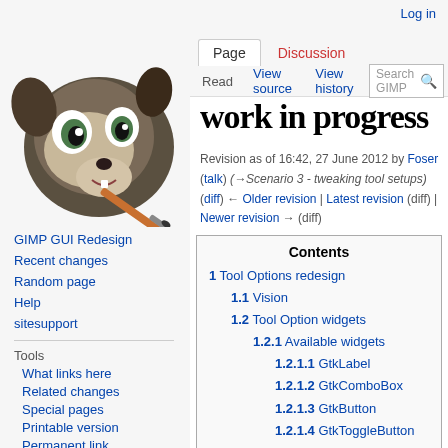Log in
[Figure (logo): GIMP mascot logo - cartoon dog/wilber with paintbrush]
GIMP GUI Redesign
Recent changes
Random page
Help
sitesupport
Tools
What links here
Related changes
Special pages
Printable version
Permanent link
Page information
work in progress
Revision as of 16:42, 27 June 2012 by Foser (talk) (→Scenario 3 - tweaking tool setups) (diff) ← Older revision | Latest revision (diff) | Newer revision → (diff)
| Contents |
| --- |
| 1 Tool Options redesign |
| 1.1 Vision |
| 1.2 Tool Option widgets |
| 1.2.1 Available widgets |
| 1.2.1.1 GtkLabel |
| 1.2.1.2 GtkComboBox |
| 1.2.1.3 GtkButton |
| 1.2.1.4 GtkToggleButton |
| 1.2.1.5 GtkLinkButton |